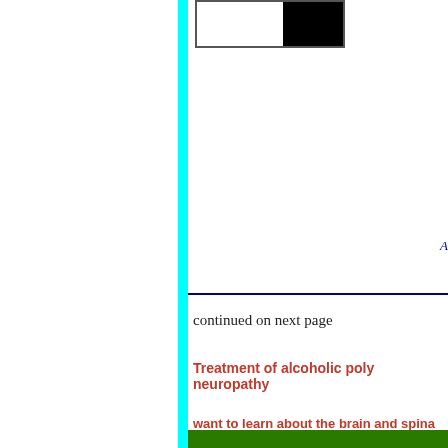[Figure (other): Partial view of a framed image with white and black sections at the top of the right content area]
continued on next page
Treatment of alcoholic poly neuropathy
want to learn about the brain and spina